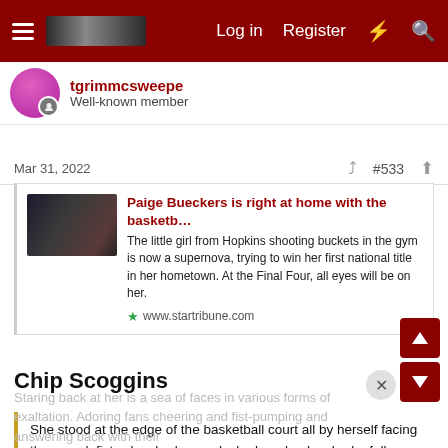Log in  Register
tgrimmcsweepe
Well-known member
Mar 31, 2022   #533
Paige Bueckers is right at home with the basketb…
The little girl from Hopkins shooting buckets in the gym is now a supernova, trying to win her first national title in her hometown. At the Final Four, all eyes will be on her.
www.startribune.com
Chip Scoggins
She stood at the edge of the basketball court all by herself facing the crowd, fists clenched, arms locked, and unleashed a full-throated scream, a moment captured in a photograph that quickly went viral
Staring back at her is a sea of faces in various forms of exaltation. Adoring fans cheering and fist-pumping and answering back with their